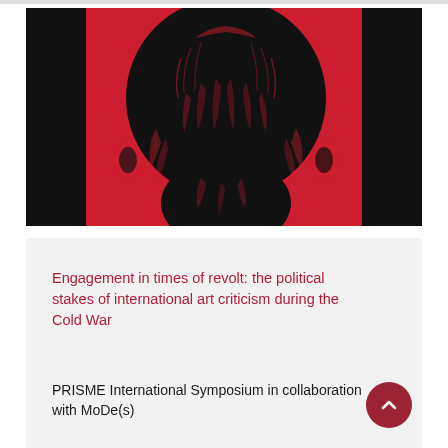[Figure (illustration): Artwork showing a person's head seen from behind, rendered in black ink on a red background with black borders on left and right sides. The image has a woodcut/linocut print aesthetic.]
Engagement in times of revolt: the political stakes of international art criticism during the Cold War
PRISME International Symposium in collaboration with MoDe(s)